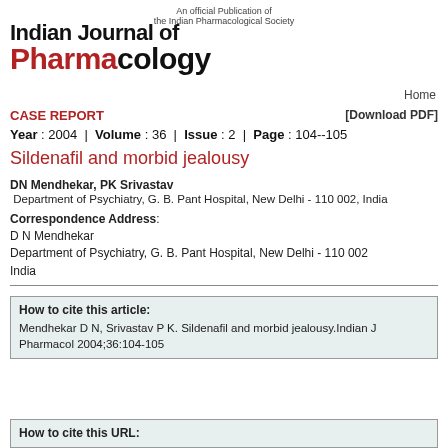An official Publication of the Indian Pharmacological Society
Indian Journal of Pharmacology
Home
CASE REPORT
[Download PDF]
Year : 2004  |  Volume : 36  |  Issue : 2  |  Page : 104--105
Sildenafil and morbid jealousy
DN Mendhekar, PK Srivastav
Department of Psychiatry, G. B. Pant Hospital, New Delhi - 110 002, India
Correspondence Address:
D N Mendhekar
Department of Psychiatry, G. B. Pant Hospital, New Delhi - 110 002
India
How to cite this article:
Mendhekar D N, Srivastav P K. Sildenafil and morbid jealousy.Indian J Pharmacol 2004;36:104-105
How to cite this URL: